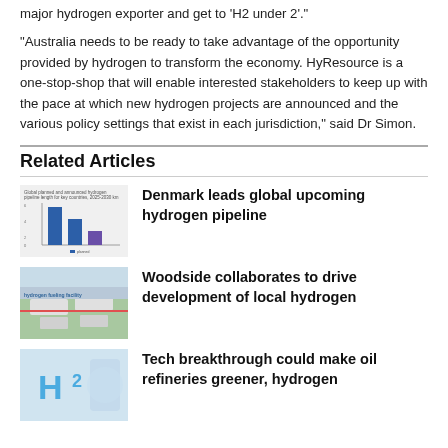major hydrogen exporter and get to ‘H2 under 2’.”
“Australia needs to be ready to take advantage of the opportunity provided by hydrogen to transform the economy. HyResource is a one-stop-shop that will enable interested stakeholders to keep up with the pace at which new hydrogen projects are announced and the various policy settings that exist in each jurisdiction,” said Dr Simon.
Related Articles
[Figure (bar-chart): Thumbnail image of a bar chart showing global planned and announced hydrogen pipeline length for key countries, 2025-2030 data]
Denmark leads global upcoming hydrogen pipeline
[Figure (photo): Thumbnail photo of trucks at a hydrogen fueling facility, aerial view]
Woodside collaborates to drive development of local hydrogen
[Figure (photo): Thumbnail photo showing H2 text on a surface, related to hydrogen technology]
Tech breakthrough could make oil refineries greener, hydrogen